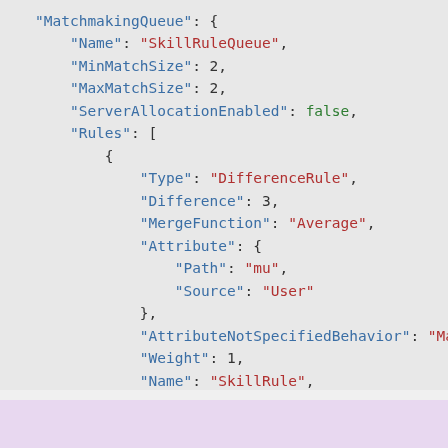[Figure (screenshot): JSON code block showing MatchmakingQueue configuration with Name, MinMatchSize, MaxMatchSize, ServerAllocationEnabled, Rules array containing a DifferenceRule with Difference, MergeFunction, Attribute (Path and Source), AttributeNotSpecifiedBehavior, Weight, Name, and SecondsUntilOptional fields.]
[Figure (screenshot): Light purple/lavender colored bar at the bottom of the page, partial view.]